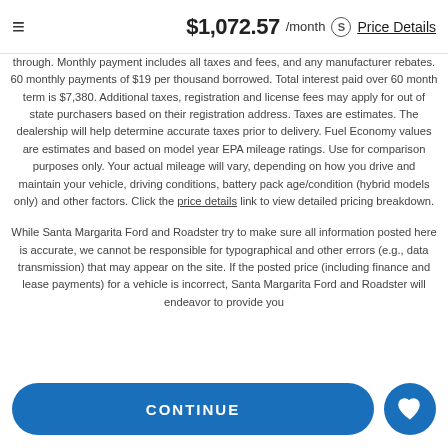$1,072.57 /month Price Details
through. Monthly payment includes all taxes and fees, and any manufacturer rebates. 60 monthly payments of $19 per thousand borrowed. Total interest paid over 60 month term is $7,380. Additional taxes, registration and license fees may apply for out of state purchasers based on their registration address. Taxes are estimates. The dealership will help determine accurate taxes prior to delivery. Fuel Economy values are estimates and based on model year EPA mileage ratings. Use for comparison purposes only. Your actual mileage will vary, depending on how you drive and maintain your vehicle, driving conditions, battery pack age/condition (hybrid models only) and other factors. Click the price details link to view detailed pricing breakdown.
While Santa Margarita Ford and Roadster try to make sure all information posted here is accurate, we cannot be responsible for typographical and other errors (e.g., data transmission) that may appear on the site. If the posted price (including finance and lease payments) for a vehicle is incorrect, Santa Margarita Ford and Roadster will endeavor to provide you